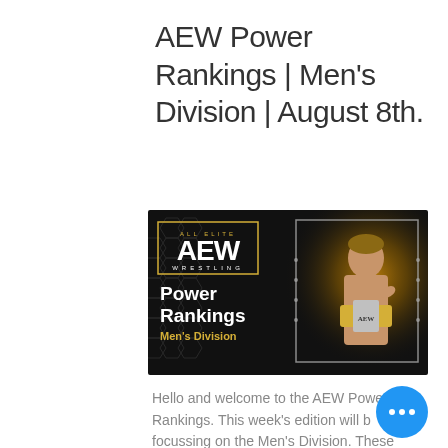AEW Power Rankings | Men's Division | August 8th.
[Figure (illustration): AEW Wrestling Power Rankings Men's Division promotional banner. Black background with gold hexagonal pattern, AEW logo on left, text 'Power Rankings' in bold white, 'Men's Division' in gold. Right side shows a wrestler holding a championship belt against a gold dust background with a silver frame.]
Hello and welcome to the AEW Power Rankings. This week's edition will be focussing on the Men's Division. These